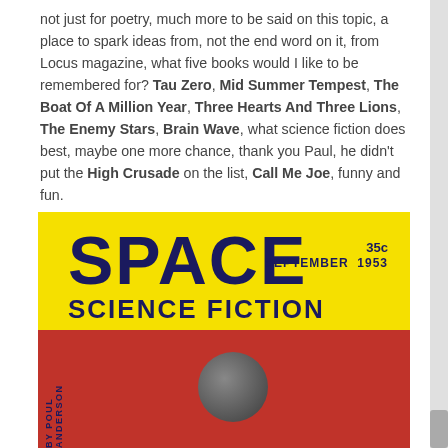not just for poetry, much more to be said on this topic, a place to spark ideas from, not the end word on it, from Locus magazine, what five books would I like to be remembered for? Tau Zero, Mid Summer Tempest, The Boat Of A Million Year, Three Hearts And Three Lions, The Enemy Stars, Brain Wave, what science fiction does best, maybe one more chance, thank you Paul, he didn't put the High Crusade on the list, Call Me Joe, funny and fun.
[Figure (photo): Cover of Space Science Fiction magazine, September 1953, 35 cents. Yellow header with large dark blue SPACE title and SCIENCE FICTION subtitle. Red lower portion with illustration of a planet/sphere and geometric shapes. 'BY POUL ANDERSON' printed vertically on the left spine.]